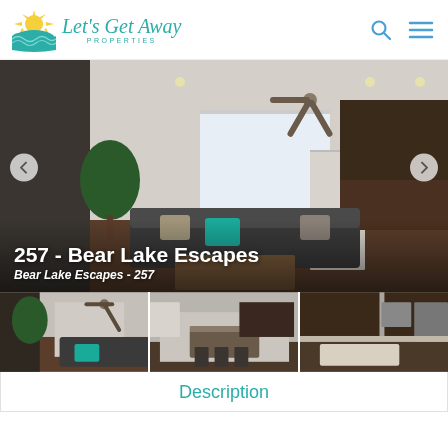[Figure (logo): Let's Get Away Properties logo with sun/wave icon and teal script text]
[Figure (photo): Interior living room and kitchen photo of Bear Lake Escapes 257 vacation rental with ceiling fan, dark sofas, teal chair, and kitchen in background. Navigation arrows on left and right.]
257 - Bear Lake Escapes
Bear Lake Escapes - 257
[Figure (photo): Thumbnail 1: Living room with ceiling fan and sofas]
[Figure (photo): Thumbnail 2: Dining area and kitchen island]
[Figure (photo): Thumbnail 3: Kitchen area with dark cabinets]
Description